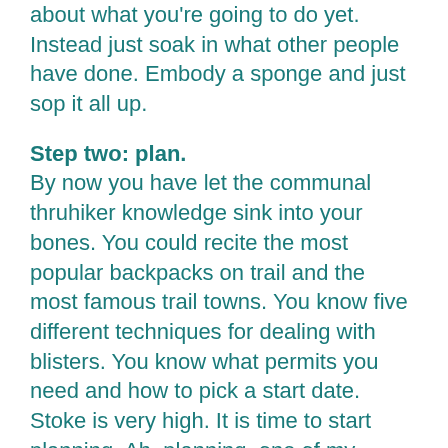about what you're going to do yet. Instead just soak in what other people have done. Embody a sponge and just sop it all up.
Step two: plan. By now you have let the communal thruhiker knowledge sink into your bones. You could recite the most popular backpacks on trail and the most famous trail towns. You know five different techniques for dealing with blisters. You know what permits you need and how to pick a start date. Stoke is very high. It is time to start planning. Ah, planning, one of my favorite words in the english language but I tend to be in the minority. Odds are planning stresses